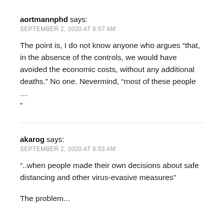aortmannphd says:
SEPTEMBER 2, 2020 AT 6:57 AM
The point is, I do not know anyone who argues “that, in the absence of the controls, we would have avoided the economic costs, without any additional deaths.” No one. Nevermind, “most of these people … ”
akarog says:
SEPTEMBER 2, 2020 AT 8:03 AM
“..when people made their own decisions about safe distancing and other virus-evasive measures”
The problem...